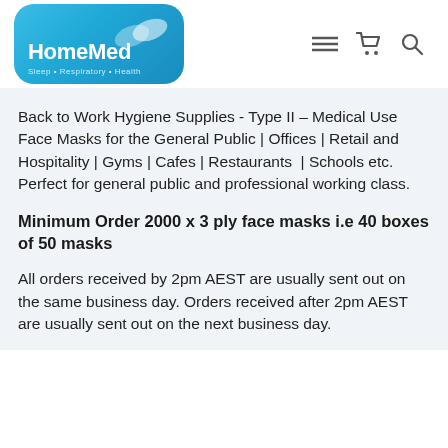[Figure (logo): HomeMed logo — blue rounded rectangle with white wing/leaf icon and text 'HomeMed Sleep • Respiratory • Health']
Back to Work Hygiene Supplies - Type II – Medical Use Face Masks for the General Public | Offices | Retail and Hospitality | Gyms | Cafes | Restaurants | Schools etc. Perfect for general public and professional working class.
Minimum Order 2000 x 3 ply face masks i.e 40 boxes of 50 masks
All orders received by 2pm AEST are usually sent out on the same business day. Orders received after 2pm AEST are usually sent out on the next business day.